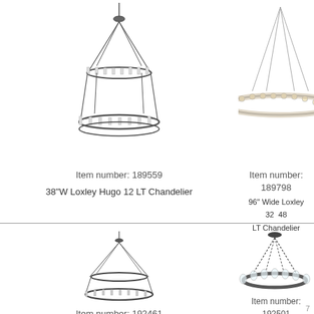[Figure (illustration): 38W Loxley Hugo 12 LT Chandelier product photo - dark iron tiered cone chandelier with candle lights]
Item number: 189559
38"W Loxley Hugo 12 LT Chandelier
[Figure (illustration): 96 Wide Loxley 32 48 LT Chandelier - large ring/halo chandelier with many candle lights, partially cropped]
Item number: 189798
96" Wide Loxley 32  48 LT Chandelier
[Figure (illustration): Chandelier product photo bottom left - dark double-ring cone chandelier]
Item number: 192461
[Figure (illustration): Chandelier product photo bottom right - dark single ring chandelier with chain suspension]
Item number: 192501
7